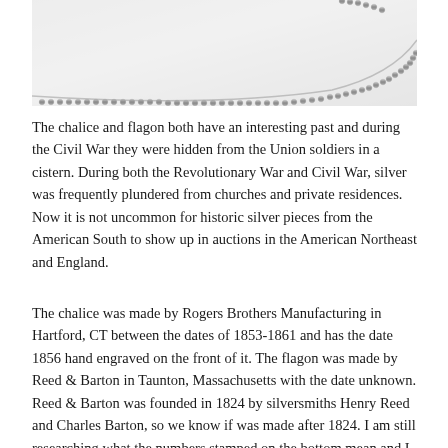[Figure (photo): Close-up photo of a silver plate or dish showing a beaded decorative border edge against a white/silver background.]
The chalice and flagon both have an interesting past and during the Civil War they were hidden from the Union soldiers in a cistern. During both the Revolutionary War and Civil War, silver was frequently plundered from churches and private residences. Now it is not uncommon for historic silver pieces from the American South to show up in auctions in the American Northeast and England.
The chalice was made by Rogers Brothers Manufacturing in Hartford, CT between the dates of 1853-1861 and has the date 1856 hand engraved on the front of it. The flagon was made by Reed & Barton in Taunton, Massachusetts with the date unknown. Reed & Barton was founded in 1824 by silversmiths Henry Reed and Charles Barton, so we know if was made after 1824. I am still researching what the numbers stamped on the bottom mean and I believe that the letters are the silversmith's marks.